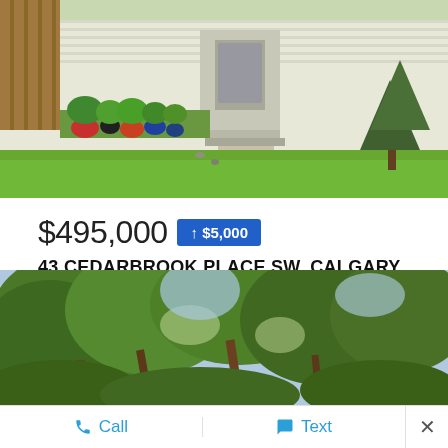[Figure (photo): Exterior photo of house front yard with green lawn, potted plants along the foundation, walkway leading to front door, and spruce trees on the right]
$495,000 ↑ $5,000
43 CEDARBROOK PLACE SW, CALGARY
3 BEDS • 3 BATHS • 1,603 SQFT • RESIDENTIAL • MLS® # A1212104
EXP REALTY
[Figure (photo): Outdoor photo showing large mature trees with dense green foliage against a bright sky]
Call  Text  ×